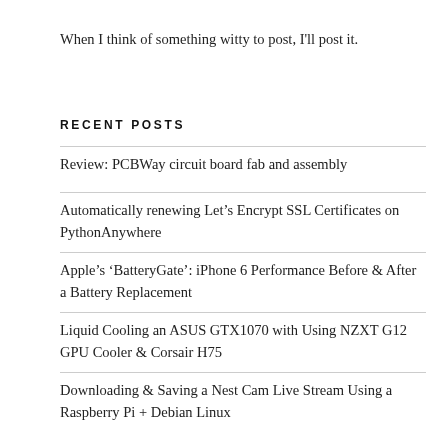When I think of something witty to post, I'll post it.
RECENT POSTS
Review: PCBWay circuit board fab and assembly
Automatically renewing Let's Encrypt SSL Certificates on PythonAnywhere
Apple's ‘BatteryGate’: iPhone 6 Performance Before & After a Battery Replacement
Liquid Cooling an ASUS GTX1070 with Using NZXT G12 GPU Cooler & Corsair H75
Downloading & Saving a Nest Cam Live Stream Using a Raspberry Pi + Debian Linux